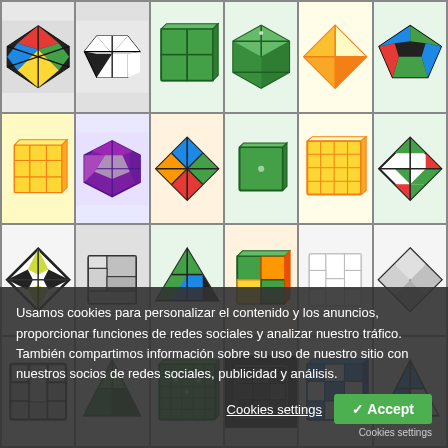[Figure (photo): Grid of 24 Rubik's cube variants and twisty puzzles including megaminx, 2x2, 3x3, 4x4, pyraminx, mirror cube, skewb, and other puzzle types arranged in a 6x4 grid. A cookie consent overlay appears at the bottom of the page.]
Usamos cookies para personalizar el contenido y los anuncios, proporcionar funciones de redes sociales y analizar nuestro tráfico. También compartimos información sobre su uso de nuestro sitio con nuestros socios de redes sociales, publicidad y análisis.
Cookies settings
✓ Accept
Cookies settings